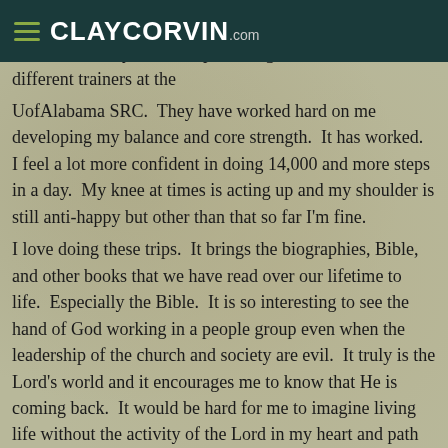CLAYCORVIN.com
e and un...oted you wind up on the ground. I've had two different trainers at the UofAlabama SRC. They have worked hard on me developing my balance and core strength. It has worked. I feel a lot more confident in doing 14,000 and more steps in a day. My knee at times is acting up and my shoulder is still anti-happy but other than that so far I'm fine. I love doing these trips. It brings the biographies, Bible, and other books that we have read over our lifetime to life. Especially the Bible. It is so interesting to see the hand of God working in a people group even when the leadership of the church and society are evil. It truly is the Lord's world and it encourages me to know that He is coming back. It would be hard for me to imagine living life without the activity of the Lord in my heart and path each day. I would be in great trouble without the